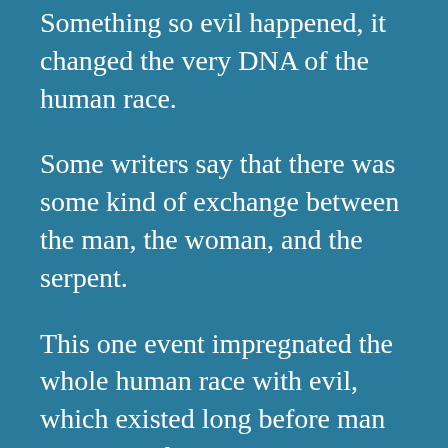Something so evil happened, it changed the very DNA of the human race.
Some writers say that there was some kind of exchange between the man, the woman, and the serpent.
This one event impregnated the whole human race with evil, which existed long before man was created.
I'm not going to speculate on what